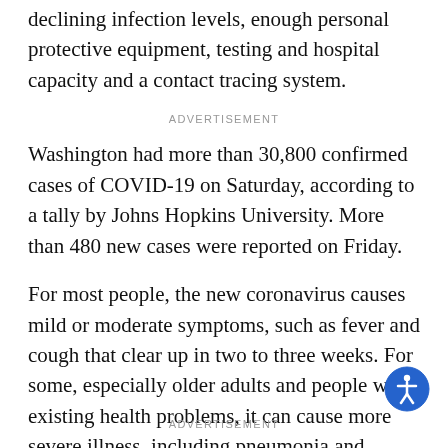declining infection levels, enough personal protective equipment, testing and hospital capacity and a contact tracing system.
ADVERTISEMENT
Washington had more than 30,800 confirmed cases of COVID-19 on Saturday, according to a tally by Johns Hopkins University. More than 480 new cases were reported on Friday.
For most people, the new coronavirus causes mild or moderate symptoms, such as fever and cough that clear up in two to three weeks. For some, especially older adults and people with existing health problems, it can cause more severe illness, including pneumonia and death.
ADVERTISEMENT